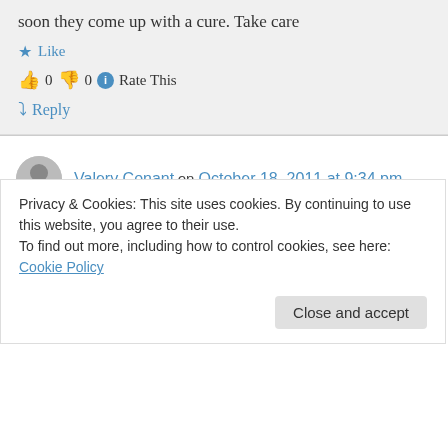soon they come up with a cure. Take care
Like
0  0  Rate This
Reply
Valery Conant on October 18, 2011 at 9:34 pm
hi i was injured at work approxitmently 3 years ago, i ended up tearing a ligiment in my left writst, after the surgery my fingers locked up, i had to retrain my hand in order to type, with this
Privacy & Cookies: This site uses cookies. By continuing to use this website, you agree to their use.
To find out more, including how to control cookies, see here: Cookie Policy
Close and accept